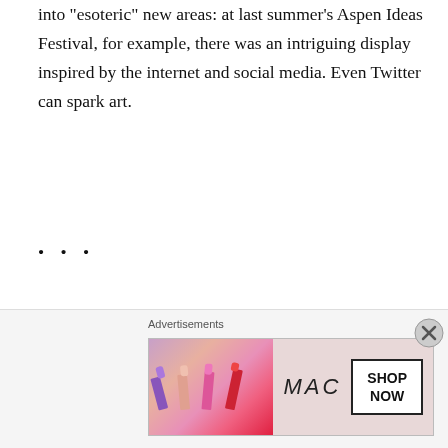into "esoteric" new areas: at last summer's Aspen Ideas Festival, for example, there was an intriguing display inspired by the internet and social media. Even Twitter can spark art.
• • •
So I hope more artists follow Jonathan Jarvis's example and try to create visual art that makes us reflect on the power and peculiarity of modern money. I also hope more galleries find ways to support artists in this endeavour, if only because 21st-century finance is such an important part of our lives (and as intrinsic to our modern psyche as many of the other issues that artists portray). And if you
Advertisements
[Figure (photo): MAC cosmetics advertisement banner showing lipsticks in purple, pink, and red shades alongside the MAC logo and a 'SHOP NOW' button box]